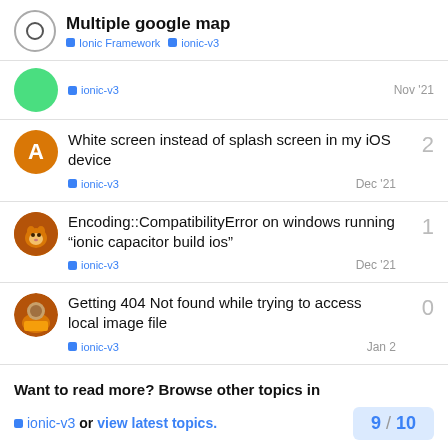Multiple google map | Ionic Framework | ionic-v3
ionic-v3 · Nov '21
White screen instead of splash screen in my iOS device · ionic-v3 · Dec '21 · 2 replies
Encoding::CompatibilityError on windows running "ionic capacitor build ios" · ionic-v3 · Dec '21 · 1 reply
Getting 404 Not found while trying to access local image file · ionic-v3 · Jan 2 · 0 replies
Want to read more? Browse other topics in ionic-v3 or view latest topics. 9 / 10